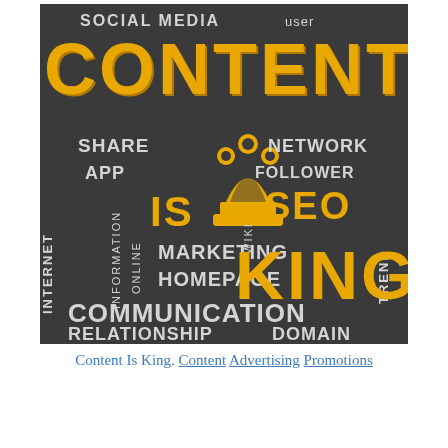[Figure (infographic): Word cloud / typographic infographic on dark charcoal background with terms related to social media and content marketing. Large gold text reads CONTENT and KING; white text includes SOCIAL MEDIA, user, SHARE, APP, INTERNET, INFORMATION, ONLINE, MARKETING, HOMEPAGE, COMMUNICATION, RELATIONSHIP, DOMAIN, NETWORK, FOLLOWER, WIKI, SEO, TREND. A gold crown chess piece icon in the center. Text IS in gold also appears.]
Content Is King. Content Advertising Promotions